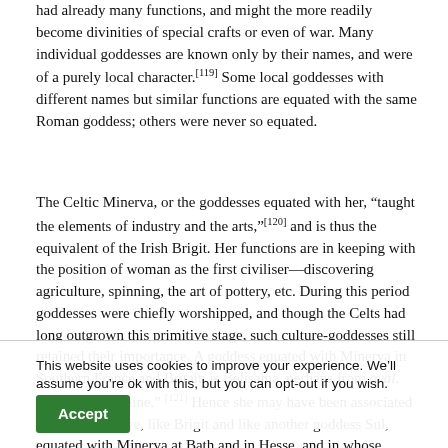had already many functions, and might the more readily become divinities of special crafts or even of war. Many individual goddesses are known only by their names, and were of a purely local character.[119] Some local goddesses with different names but similar functions are equated with the same Roman goddess; others were never so equated.
The Celtic Minerva, or the goddesses equated with her, “taught the elements of industry and the arts,”[120] and is thus the equivalent of the Irish Brigit. Her functions are in keeping with the position of woman as the first civiliser—discovering agriculture, spinning, the art of pottery, etc. During this period goddesses were chiefly worshipped, and though the Celts had long outgrown this primitive stage, such culture-goddesses still retained their importance. A goddess equated with Minerva in Southern France and Britain is Belisama, perhaps from qval, “to burn” or “shine.” [121] Hence she may have been associated with a cult of fire, like Brigit and like another goddess Sul, equated with Minerva at Bath and in Hesse, and in whose temple perpetual fires burned.[122] She was also a goddess of hot springs. Belisama gave her name to the Mersey [123] and many
This website uses cookies to improve your experience. We’ll assume you’re ok with this, but you can opt-out if you wish. Read More
Accept